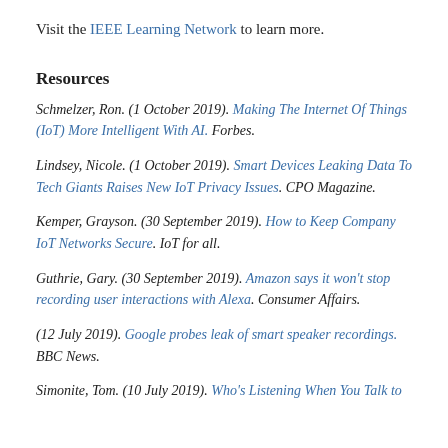Visit the IEEE Learning Network to learn more.
Resources
Schmelzer, Ron. (1 October 2019). Making The Internet Of Things (IoT) More Intelligent With AI. Forbes.
Lindsey, Nicole. (1 October 2019). Smart Devices Leaking Data To Tech Giants Raises New IoT Privacy Issues. CPO Magazine.
Kemper, Grayson. (30 September 2019). How to Keep Company IoT Networks Secure. IoT for all.
Guthrie, Gary. (30 September 2019). Amazon says it won't stop recording user interactions with Alexa. Consumer Affairs.
(12 July 2019). Google probes leak of smart speaker recordings. BBC News.
Simonite, Tom. (10 July 2019). Who's Listening When You Talk to